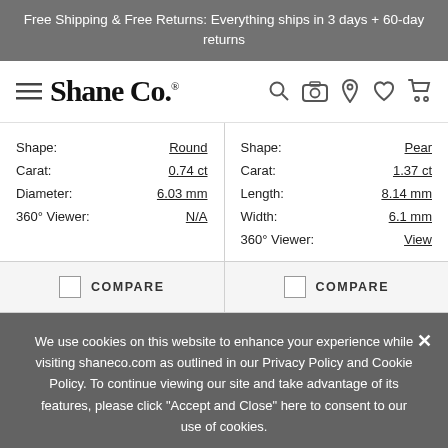Free Shipping & Free Returns: Everything ships in 3 days + 60-day returns
[Figure (logo): Shane Co. logo with hamburger menu icon on left and nav icons (search, camera, location, heart, cart) on right]
| Label | Value |
| --- | --- |
| Shape: | Round |
| Carat: | 0.74 ct |
| Diameter: | 6.03 mm |
| 360° Viewer: | N/A |
| Label | Value |
| --- | --- |
| Shape: | Pear |
| Carat: | 1.37 ct |
| Length: | 8.14 mm |
| Width: | 6.1 mm |
| 360° Viewer: | View |
COMPARE
COMPARE
We use cookies on this website to enhance your experience while visiting shaneco.com as outlined in our Privacy Policy and Cookie Policy. To continue viewing our site and take advantage of its features, please click "Accept and Close" here to consent to our use of cookies.
Accept and Close | More Info